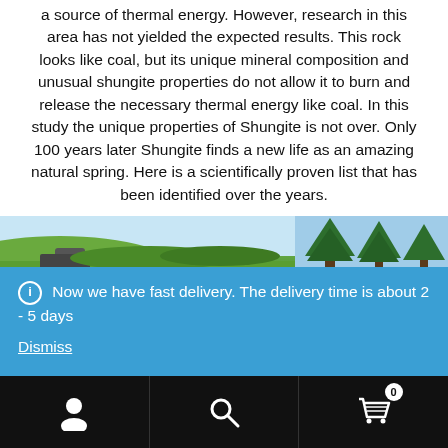a source of thermal energy. However, research in this area has not yielded the expected results. This rock looks like coal, but its unique mineral composition and unusual shungite properties do not allow it to burn and release the necessary thermal energy like coal. In this study the unique properties of Shungite is not over. Only 100 years later Shungite finds a new life as an amazing natural spring. Here is a scientifically proven list that has been identified over the years.
[Figure (photo): Landscape photo showing green fields and trees on the left, and tall pine trees against a blue sky on the right]
Now we have fast delivery. The delivery time is about 2 - 5 days
Dismiss
Navigation bar with user icon, search icon, and cart icon (0 items)